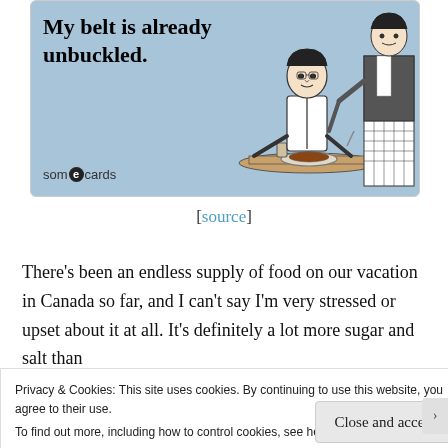[Figure (illustration): Someecards humor card with light blue background showing a man seated at a dining table with food, being served by a waiter. Text reads 'My belt is already unbuckled.' with someecards logo at bottom left.]
[source]
There's been an endless supply of food on our vacation in Canada so far, and I can't say I'm very stressed or upset about it at all. It's definitely a lot more sugar and salt than
Privacy & Cookies: This site uses cookies. By continuing to use this website, you agree to their use.
To find out more, including how to control cookies, see here: Cookie Policy
Close and accept